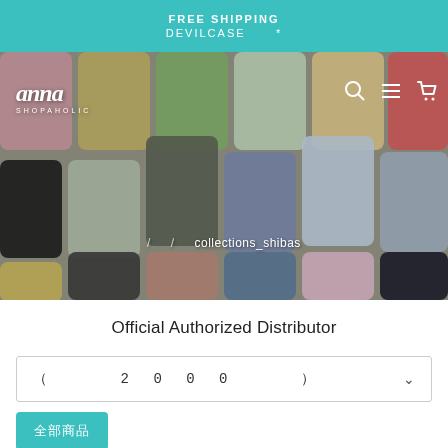FREE SHIPPING DEVILCASE *
[Figure (screenshot): Hero banner image showing a grid of colorful phone cases with the Anna Shopaholic logo top-left and navigation icons top-right. Breadcrumb overlay reads: / / collections_shibas]
Official Authorized Distributor
( 2 0 0 0 )
全部商品